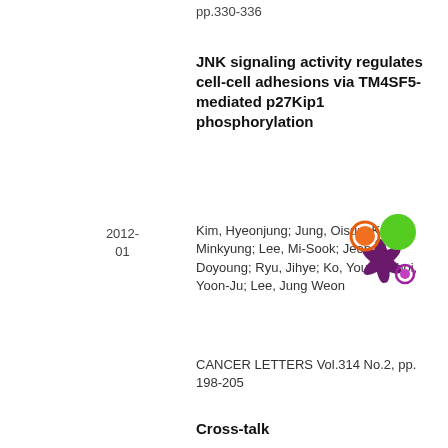pp.330-336
JNK signaling activity regulates cell-cell adhesions via TM4SF5-mediated p27Kip1 phosphorylation
2012-01
Kim, Hyeonjung; Jung, Oisun; Kang, Minkyung; Lee, Mi-Sook; Jeong, Doyoung; Ryu, Jihye; Ko, Youra; Choi, Yoon-Ju; Lee, Jung Weon
CANCER LETTERS Vol.314 No.2, pp. 198-205
Cross-talk
[Figure (logo): Colorful logo with purple splash shape and three colored circles: orange (top-left), green (top-right), purple (bottom-right)]